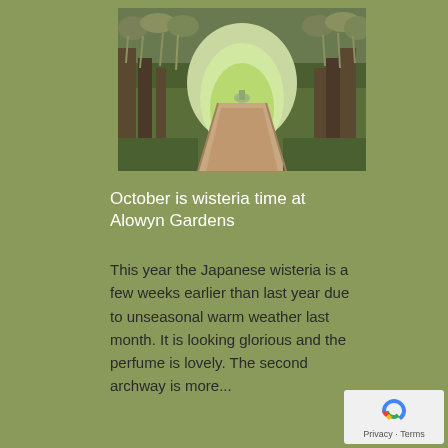[Figure (photo): Garden pathway with a wisteria archway, lush green trees and plants on the sides, leading to a fountain in the background. Hanging purple wisteria flowers form an arch over the path.]
October is wisteria time at Alowyn Gardens
This year the Japanese wisteria is a few weeks earlier than last year due to unseasonal warm weather last month. It is looking glorious and the perfume is lovely. The second archway is more...